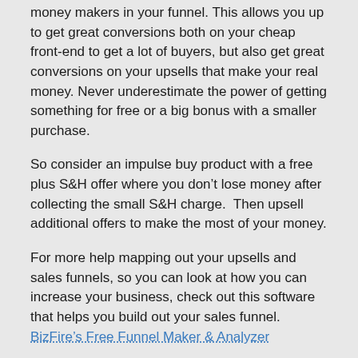money makers in your funnel. This allows you up to get great conversions both on your cheap front-end to get a lot of buyers, but also get great conversions on your upsells that make your real money. Never underestimate the power of getting something for free or a big bonus with a smaller purchase.
So consider an impulse buy product with a free plus S&H offer where you don't lose money after collecting the small S&H charge.  Then upsell additional offers to make the most of your money.
For more help mapping out your upsells and sales funnels, so you can look at how you can increase your business, check out this software that helps you build out your sales funnel. BizFire's Free Funnel Maker & Analyzer
Be Sociable, Share!